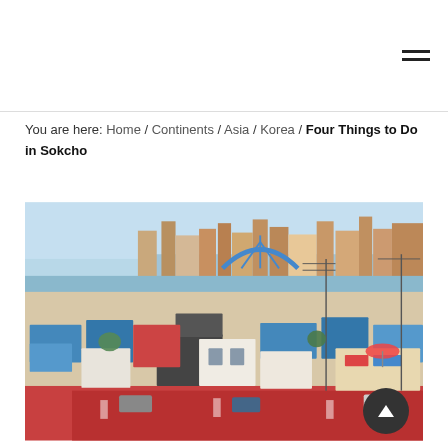Navigation menu icon
You are here: Home / Continents / Asia / Korea / Four Things to Do in Sokcho
[Figure (photo): Aerial view of Sokcho city, South Korea, showing colorful rooftops with blue, red and dark tiles, a street with a red sidewalk, shops with umbrellas, and in the background a blue arch bridge and the sea/harbor under a clear sky.]